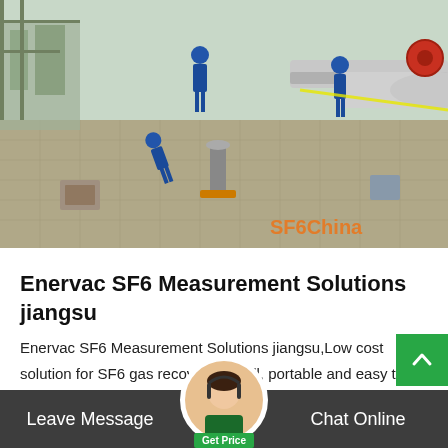[Figure (photo): Industrial site photo showing workers in blue coveralls and hard hats working on outdoor gas equipment and pipelines. SF6China watermark visible in bottom right corner.]
Enervac SF6 Measurement Solutions jiangsu
Enervac SF6 Measurement Solutions jiangsu,Low cost solution for SF6 gas recovery. Small, portable and easy to use. Exclusive color change moisture indicator displays SF 6 "dryness". High pressure liquefaction of SF 6. Full size ... th storage capacities up to...
Leave Message   Chat Online